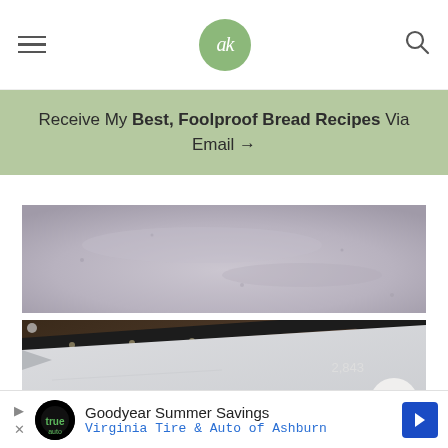ak logo with hamburger menu and search icon
Receive My Best, Foolproof Bread Recipes Via Email →
[Figure (photo): Close-up photo of textured light purple/grey paper or dough surface on a baking tray, top portion visible]
[Figure (photo): Close-up photo of a dark baking pan with parchment paper lining on a dark wooden surface, with heart (2,843 saves) and magnify buttons]
Goodyear Summer Savings Virginia Tire & Auto of Ashburn